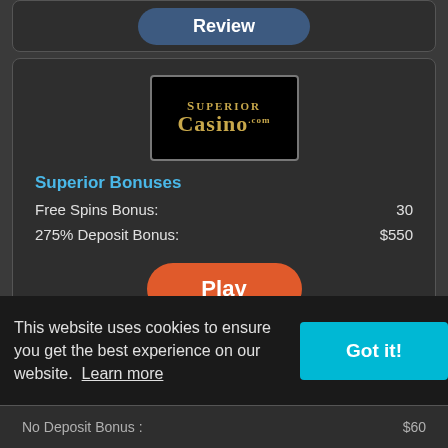[Figure (screenshot): Top card with a partially visible Review button in dark blue rounded rectangle]
[Figure (logo): Superior Casino logo: black background with gold text reading SUPERIOR CASINO.com]
Superior Bonuses
Free Spins Bonus:    30
275% Deposit Bonus:    $550
[Figure (other): Orange rounded Play button]
[Figure (other): Dark blue rounded Review button]
[Figure (logo): Partial golden logo at bottom of second card (CBC style initials)]
This website uses cookies to ensure you get the best experience on our website.  Learn more
[Figure (other): Cyan Got it! button]
No Deposit Bonus :    $60